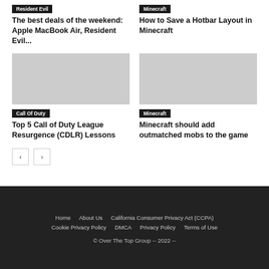Resident Evil
Minecraft
The best deals of the weekend: Apple MacBook Air, Resident Evil...
How to Save a Hotbar Layout in Minecraft
[Figure (photo): Image placeholder for Call of Duty article]
[Figure (photo): Image placeholder for Minecraft article]
Call Of Duty
Minecraft
Top 5 Call of Duty League Resurgence (CDLR) Lessons
Minecraft should add outmatched mobs to the game
Home  About Us  California Consumer Privacy Act (CCPA)  Cookie Privacy Policy  DMCA  Privacy Policy  Terms of Use  © Over The Top Group -- 2022 --